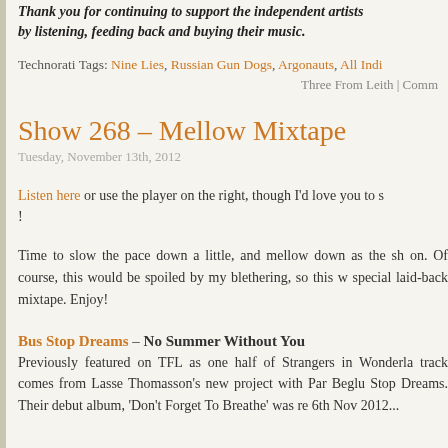Thank you for continuing to support the independent artists by listening, feeding back and buying their music.
Technorati Tags: Nine Lies, Russian Gun Dogs, Argonauts, All Indi...
Three From Leith | Comm...
Show 268 – Mellow Mixtape
Tuesday, November 13th, 2012
Listen here or use the player on the right, though I'd love you to s... !
Time to slow the pace down a little, and mellow down as the sh... on. Of course, this would be spoiled by my blethering, so this w... special laid-back mixtape. Enjoy!
Bus Stop Dreams – No Summer Without You
Previously featured on TFL as one half of Strangers in Wonderla... track comes from Lasse Thomasson's new project with Par Beglu... Stop Dreams. Their debut album, 'Don't Forget To Breathe' was re... 6th Nov 2012...